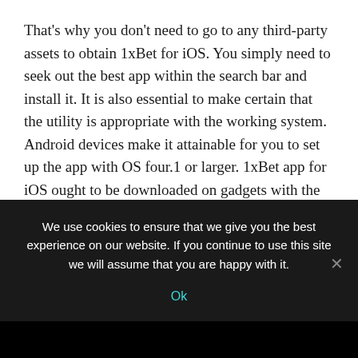That's why you don't need to go to any third-party assets to obtain 1xBet for iOS. You simply need to seek out the best app within the search bar and install it. It is also essential to make certain that the utility is appropriate with the working system. Android devices make it attainable for you to set up the app with OS four.1 or larger. 1xBet app for iOS ought to be downloaded on gadgets with the working system version 9.three or greater.
Another wanted advantage of cell App is that they're often utilised offline with out being linked to the Internet. Should you have any queries or encounter any issues
We use cookies to ensure that we give you the best experience on our website. If you continue to use this site we will assume that you are happy with it.
Ok